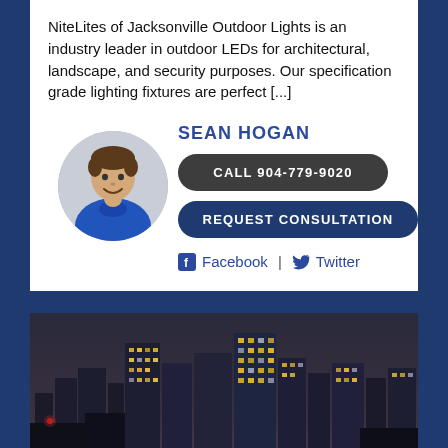NiteLites of Jacksonville Outdoor Lights is an industry leader in outdoor LEDs for architectural, landscape, and security purposes. Our specification grade lighting fixtures are perfect [...]
SEAN HOGAN
[Figure (photo): Headshot of Sean Hogan, a man in a blue polo shirt, shown in a circular crop]
CALL 904-779-9020
REQUEST CONSULTATION
Facebook | Twitter
[Figure (photo): Nighttime cityscape photo showing a city skyline with illuminated skyscraper buildings against a dark sky]